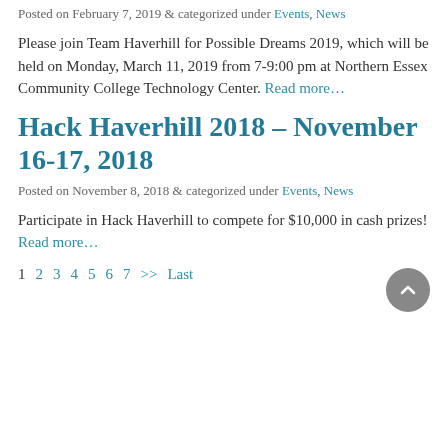Posted on February 7, 2019 & categorized under Events, News
Please join Team Haverhill for Possible Dreams 2019, which will be held on Monday, March 11, 2019 from 7-9:00 pm at Northern Essex Community College Technology Center. Read more…
Hack Haverhill 2018 – November 16-17, 2018
Posted on November 8, 2018 & categorized under Events, News
Participate in Hack Haverhill to compete for $10,000 in cash prizes! Read more…
1  2  3  4  5  6  7  >>  Last